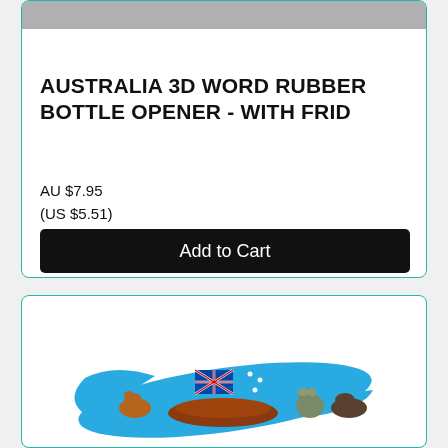[Figure (photo): Partial product image at top of first card (grey/cropped)]
AUSTRALIA 3D WORD RUBBER BOTTLE OPENER - WITH FRID
AU $7.95
(US $5.51)
Add to Cart
[Figure (photo): Blue Australia souvenir boomerang with Australian flag, kangaroo, koala, and wombat decorations, text AUSTRALIA on it]